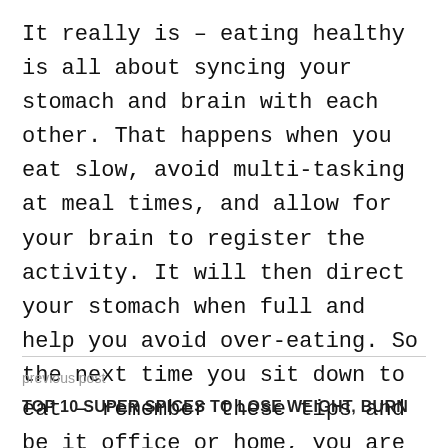It really is – eating healthy is all about syncing your stomach and brain with each other. That happens when you eat slow, avoid multi-tasking at meal times, and allow for your brain to register the activity. It will then direct your stomach when full and help you avoid over-eating. So the next time you sit down to eat – remember these tips and be it office or home, you are sure to be kicking fit and keeping those kilos at bay!
previous post
TOP 10 SUPER SPICES TO LOSE WEIGHT, BURN